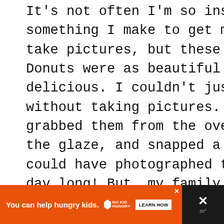It's not often I'm so inspired by something I make to get my camera out and take pictures, but these Double Strawberry Donuts were as beautiful as they were delicious. I couldn't just eat them without taking pictures. So I quickly grabbed them from the oven, dipped them in the glaze, and snapped a few pictures. I could have photographed these beauties all day long! But, my family was anxiously waiting in the wings for their first doughnut.
[Figure (screenshot): WHAT'S NEXT button with thumbnail image and text 'Smashed Strawberry...']
[Figure (screenshot): Advertisement banner: orange background with text 'You can help hungry kids.' with No Kid Hungry logo and LEARN HOW button, and dark panel with X close icon on the right.]